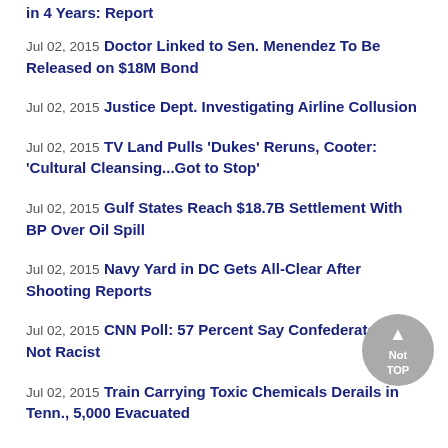in 4 Years: Report
Jul 02, 2015 Doctor Linked to Sen. Menendez To Be Released on $18M Bond
Jul 02, 2015 Justice Dept. Investigating Airline Collusion
Jul 02, 2015 TV Land Pulls 'Dukes' Reruns, Cooter: 'Cultural Cleansing...Got to Stop'
Jul 02, 2015 Gulf States Reach $18.7B Settlement With BP Over Oil Spill
Jul 02, 2015 Navy Yard in DC Gets All-Clear After Shooting Reports
Jul 02, 2015 CNN Poll: 57 Percent Say Confederate Flag Not Racist
Jul 02, 2015 Train Carrying Toxic Chemicals Derails in Tenn., 5,000 Evacuated